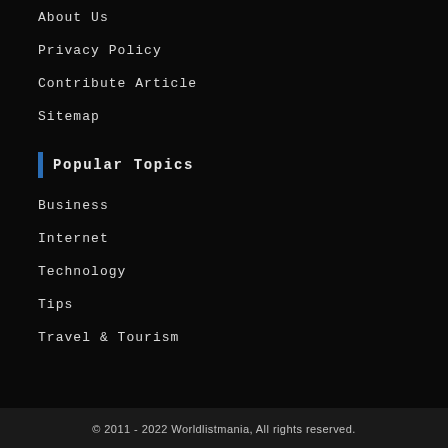About Us
Privacy Policy
Contribute Article
Sitemap
Popular Topics
Business
Internet
Technology
Tips
Travel & Tourism
© 2011 - 2022 Worldlistmania, All rights reserved.